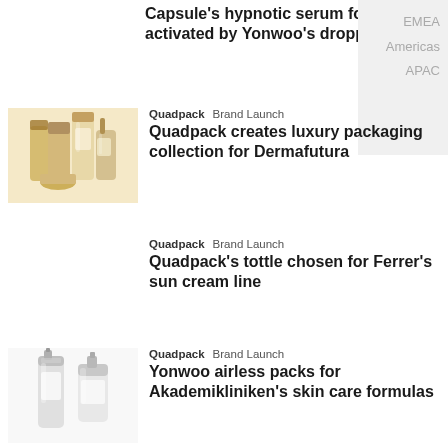EMEA
Americas
APAC
Capsule's hypnotic serum formula activated by Yonwoo's dropper
Quadpack  Brand Launch
Quadpack creates luxury packaging collection for Dermafutura
Quadpack  Brand Launch
Quadpack's tottle chosen for Ferrer's sun cream line
Quadpack  Brand Launch
Yonwoo airless packs for Akademikliniken's skin care formulas